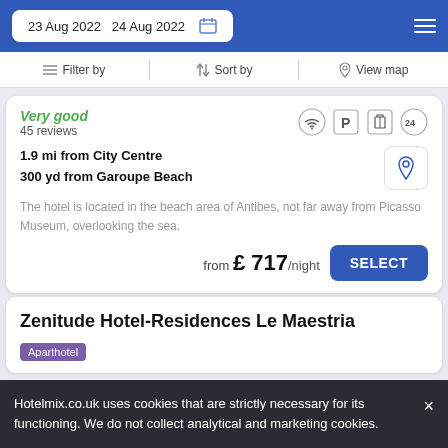23 Aug 2022  24 Aug 2022
Filter by  Sort by  View map
Very good
45 reviews
1.9 mi from City Centre
300 yd from Garoupe Beach
The hotel is located in the beach area of Antibes, not far away from Picasso Museum, overlooking the sea.
from £ 717/night
Zenitude Hotel-Residences Le Maestria
Aparthotel
Hotelmix.co.uk uses cookies that are strictly necessary for its functioning. We do not collect analytical and marketing cookies.